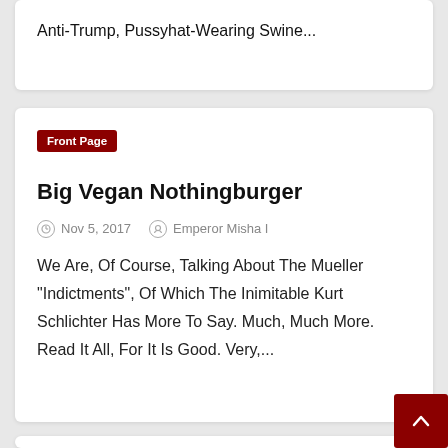Anti-Trump, Pussyhat-Wearing Swine...
Front Page
Big Vegan Nothingburger
Nov 5, 2017   Emperor Misha I
We Are, Of Course, Talking About The Mueller "Indictments", Of Which The Inimitable Kurt Schlichter Has More To Say. Much, Much More. Read It All, For It Is Good. Very,...